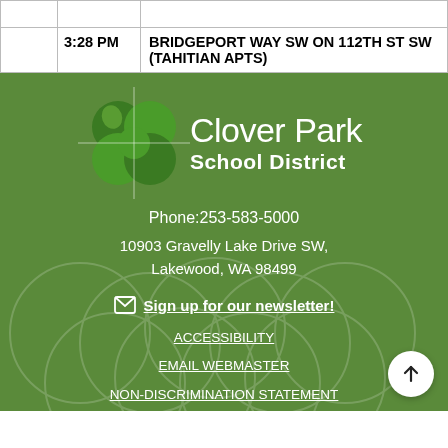|  |  |  |
| --- | --- | --- |
|  | 3:28 PM | BRIDGEPORT WAY SW ON 112TH ST SW (TAHITIAN APTS) |
[Figure (logo): Clover Park School District logo with green four-leaf clover graphic and white text on green background, including phone number, address, newsletter signup, and footer links.]